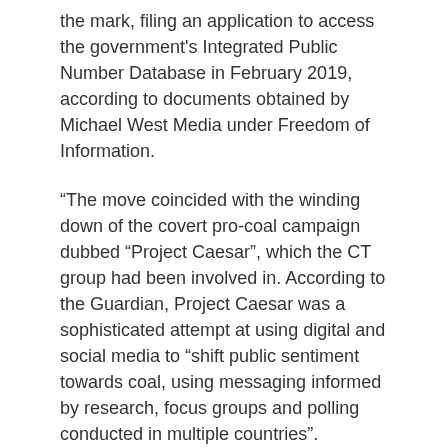the mark, filing an application to access the government's Integrated Public Number Database in February 2019, according to documents obtained by Michael West Media under Freedom of Information.
“The move coincided with the winding down of the covert pro-coal campaign dubbed “Project Caesar”, which the CT group had been involved in. According to the Guardian, Project Caesar was a sophisticated attempt at using digital and social media to “shift public sentiment towards coal, using messaging informed by research, focus groups and polling conducted in multiple countries”. https://www.michaelwest.com.au/a-pushy-number-libs-pollster-crosby-textor-granted-access-to-27-million-unlisted-mobiles/